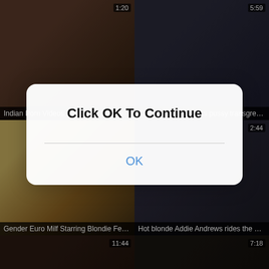[Figure (screenshot): Video thumbnail grid (adult content website) with 6 video thumbnails arranged in a 2x3 grid, each showing a duration timestamp and title. An iOS-style modal dialog overlays the center reading 'Click OK To Continue' with an OK button.]
Indian Porn Videos Deep Mouth Blowjob
Katya Rodriguez gets pussy transgres...
Gender Euro Milf Starring Blondie Fess...
Hot blonde Addie Andrews rides the br...
Click OK To Continue
OK